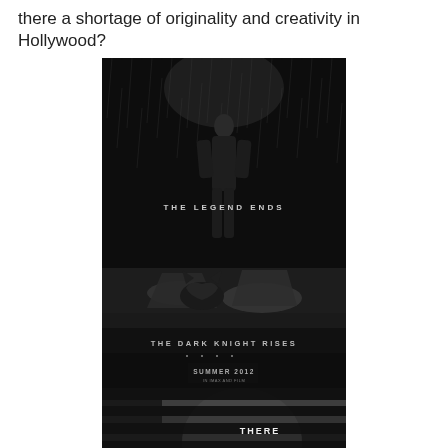there a shortage of originality and creativity in Hollywood?
[Figure (photo): Movie poster for The Dark Knight Rises showing a figure standing in the rain above a broken Batman mask, with text 'THE LEGEND ENDS', 'THE DARK KNIGHT RISES', 'SUMMER 2012']
[Figure (photo): Second movie poster showing a face with horizontal dark bars across it and the words 'THERE WAS']